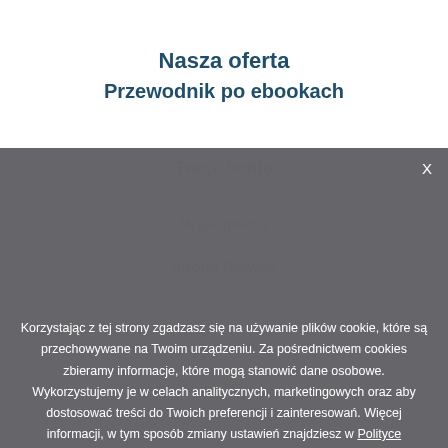Nasza oferta
Przewodnik po ebookach
Korzystając z tej strony zgadzasz się na używanie plików cookie, które są przechowywane na Twoim urządzeniu. Za pośrednictwem cookies zbieramy informacje, które mogą stanowić dane osobowe. Wykorzystujemy je w celach analitycznych, marketingowych oraz aby dostosować treści do Twoich preferencji i zainteresowań. Więcej informacji, w tym sposób zmiany ustawień znajdziesz w Polityce Prywatności.
Rozumiem